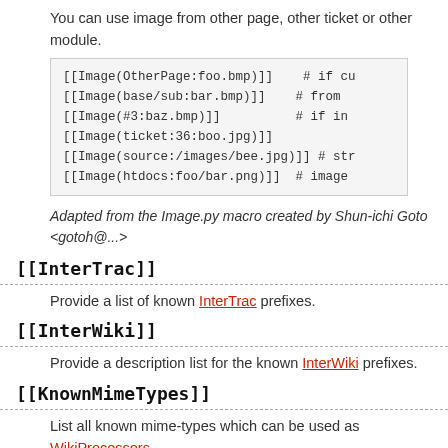You can use image from other page, other ticket or other module.
[[Image(OtherPage:foo.bmp)]]    # if cu
[[Image(base/sub:bar.bmp)]]    # from
[[Image(#3:baz.bmp)]]          # if in
[[Image(ticket:36:boo.jpg)]]
[[Image(source:/images/bee.jpg)]] # str
[[Image(htdocs:foo/bar.png)]]  # image
Adapted from the Image.py macro created by Shun-ichi Goto <gotoh@...>
[[InterTrac]]
Provide a list of known InterTrac prefixes.
[[InterWiki]]
Provide a description list for the known InterWiki prefixes.
[[KnownMimeTypes]]
List all known mime-types which can be used as WikiProcessors.
Can be given an optional argument which is interpreted as mime-type filter.
[[MacroList]]
Display a list of all installed Wiki macros, including documentation